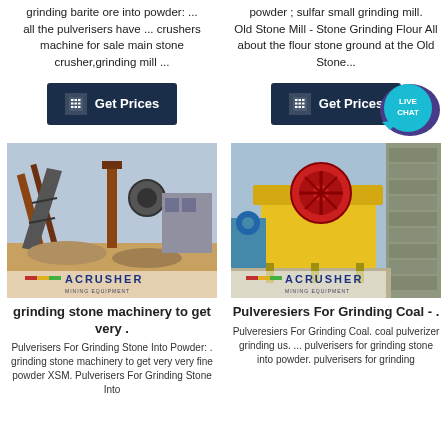grinding barite ore into powder: ... all the pulverisers have ... crushers machine for sale main stone crusher,grinding mill ...
powder ; sulfar small grinding mill. Old Stone Mill - Stone Grinding Flour All about the flour stone ground at the Old Stone...
[Figure (other): Live Chat bubble icon - teal circular badge with speech bubble]
[Figure (other): Get Prices button - dark navy background with calculator icon]
[Figure (other): Get Prices button - dark navy background with calculator icon]
[Figure (photo): Industrial stone crushing/conveyor plant facility - ACRUSHER branded image]
[Figure (photo): Yellow jaw crusher machine at a stone quarry site - ACRUSHER branded image]
grinding stone machinery to get very .
Pulveresiers For Grinding Coal - .
Pulverisers For Grinding Stone Into Powder: . grinding stone machinery to get very very fine powder XSM. Pulverisers For Grinding Stone Into
Pulveresiers For Grinding Coal. coal pulverizer grinding us. ... pulverisers for grinding stone into powder. pulverisers for grinding